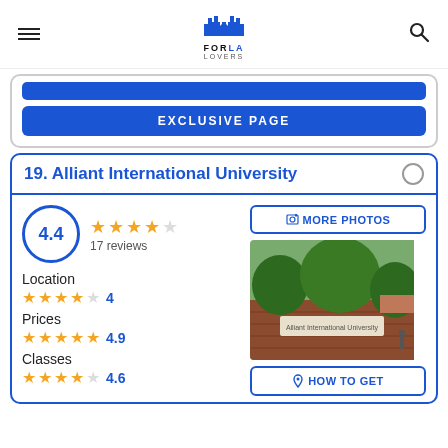FOR LA LOVERS
EXCLUSIVE PAGE
19. Alliant International University
4.4 — 17 reviews
Location — 4 stars — 4
Prices — 4.9 stars — 4.9
Classes — 4.6 stars — 4.6
[Figure (photo): Exterior photo of Alliant International University campus showing brick wall sign and trees]